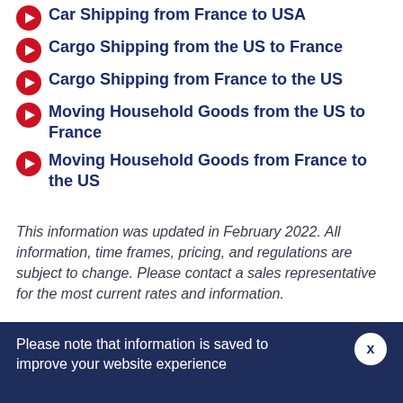Car Shipping from France to USA
Cargo Shipping from the US to France
Cargo Shipping from France to the US
Moving Household Goods from the US to France
Moving Household Goods from France to the US
This information was updated in February 2022. All information, time frames, pricing, and regulations are subject to change. Please contact a sales representative for the most current rates and information.
Back to Top.
Please note that information is saved to improve your website experience